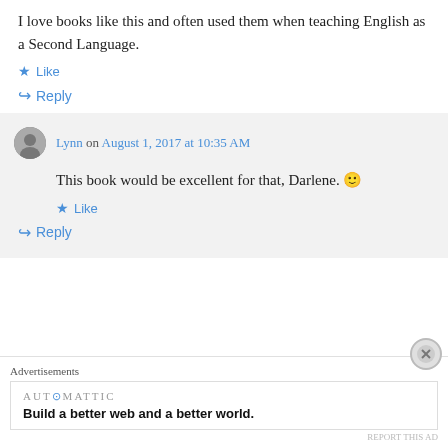I love books like this and often used them when teaching English as a Second Language.
★ Like
↪ Reply
Lynn on August 1, 2017 at 10:35 AM
This book would be excellent for that, Darlene. 🙂
★ Like
↪ Reply
Advertisements
AUT⊙MATTIC
Build a better web and a better world.